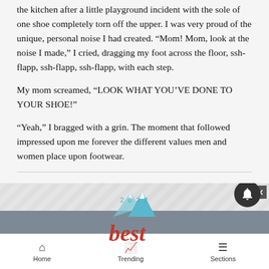the kitchen after a little playground incident with the sole of one shoe completely torn off the upper. I was very proud of the unique, personal noise I had created. “Mom! Mom, look at the noise I made,” I cried, dragging my foot across the floor, ssh-flapp, ssh-flapp, ssh-flapp, with each step.
My mom screamed, “LOOK WHAT YOU’VE DONE TO YOUR SHOE!”
“Yeah,” I bragged with a grin. The moment that followed impressed upon me forever the different values men and women place upon footwear.
[Figure (logo): 2022 Best logo with mountain graphic and gray band, advertisement banner]
Home   Trending   Sections